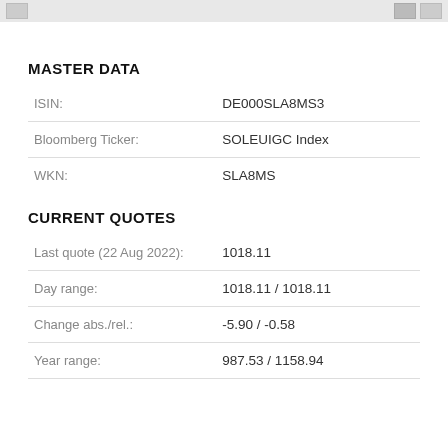MASTER DATA
| Field | Value |
| --- | --- |
| ISIN: | DE000SLA8MS3 |
| Bloomberg Ticker: | SOLEUIGC Index |
| WKN: | SLA8MS |
CURRENT QUOTES
| Field | Value |
| --- | --- |
| Last quote (22 Aug 2022): | 1018.11 |
| Day range: | 1018.11 / 1018.11 |
| Change abs./rel.: | -5.90 / -0.58 |
| Year range: | 987.53 / 1158.94 |